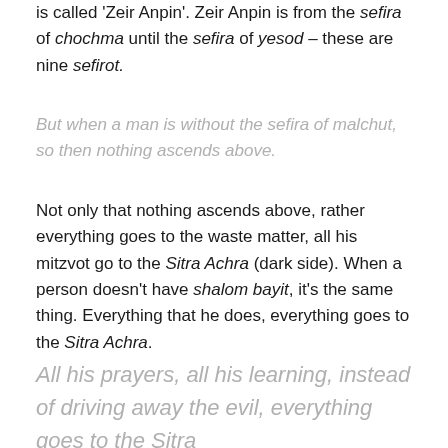is called 'Zeir Anpin'. Zeir Anpin is from the sefira of chochma until the sefira of yesod – these are nine sefirot.
But when a man is without the sefira of malchut, so then nothing ascends above.
Not only that nothing ascends above, rather everything goes to the waste matter, all his mitzvot go to the Sitra Achra (dark side). When a person doesn't have shalom bayit, it's the same thing. Everything that he does, everything goes to the Sitra Achra.
All his prayers, all his learning, instead of driving away the evil, everything goes to the Sitra